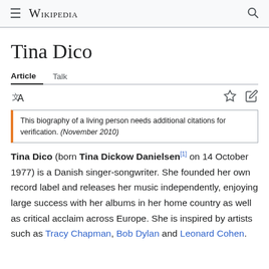Wikipedia
Tina Dico
Article  Talk
This biography of a living person needs additional citations for verification. (November 2010)
Tina Dico (born Tina Dickow Danielsen[1] on 14 October 1977) is a Danish singer-songwriter. She founded her own record label and releases her music independently, enjoying large success with her albums in her home country as well as critical acclaim across Europe. She is inspired by artists such as Tracy Chapman, Bob Dylan and Leonard Cohen.